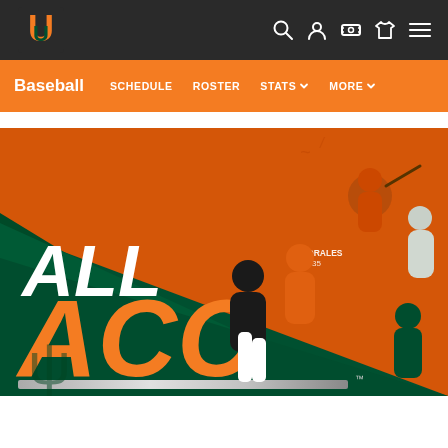University of Miami Athletics - Baseball
[Figure (screenshot): University of Miami Hurricanes logo — orange U with green interior on dark background top nav bar with search, profile, and menu icons]
[Figure (screenshot): Orange navigation bar with Baseball, SCHEDULE, ROSTER, STATS, MORE links]
[Figure (photo): All ACC promotional banner image with multiple Miami Hurricanes baseball players in orange and green uniforms, green and orange background, large text reading ALL ACC in white and orange]